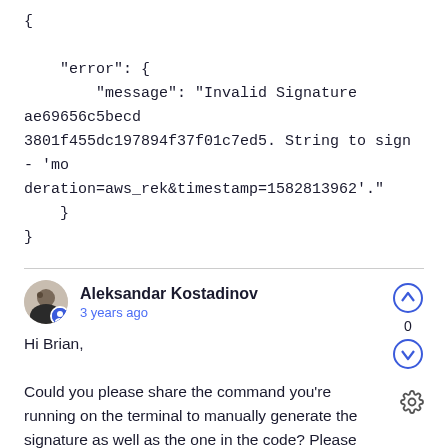{

    "error": {
        "message": "Invalid Signature ae69656c5becd3801f455dc197894f37f01c7ed5. String to sign - 'moderation=aws_rek&timestamp=1582813962'."
    }
}
Aleksandar Kostadinov
3 years ago

Hi Brian,

Could you please share the command you're running on the terminal to manually generate the signature as well as the one in the code? Please include the exact code + values, just omit the